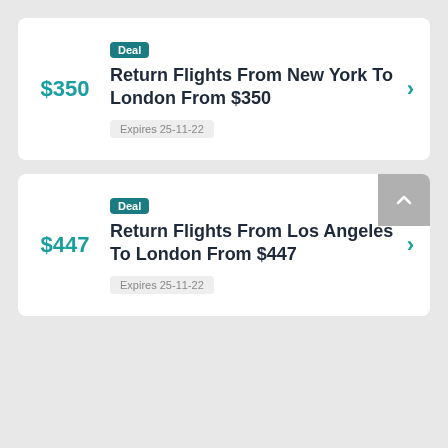Deal
Return Flights From New York To London From $350
$350
Expires 25-11-22
Deal
Return Flights From Los Angeles To London From $447
$447
Expires 25-11-22